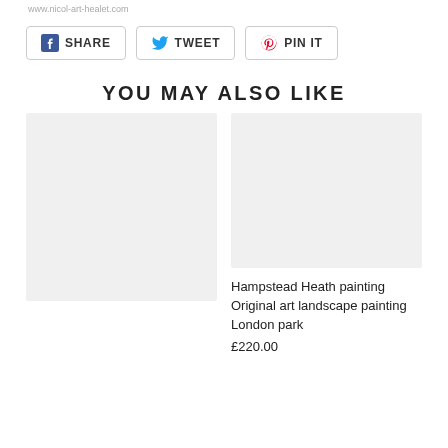www.nicol-art-healet.com
[Figure (screenshot): Social share buttons: SHARE (Facebook), TWEET (Twitter), PIN IT (Pinterest)]
YOU MAY ALSO LIKE
[Figure (photo): Product image placeholder (light gray rectangle) for first product]
[Figure (photo): Product image placeholder (light gray rectangle) for Hampstead Heath painting]
Hampstead Heath painting Original art landscape painting London park
£220.00